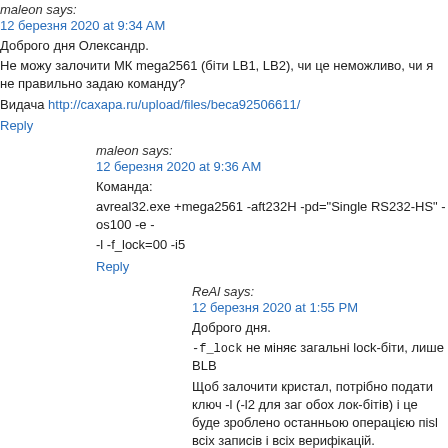maleon says:
12 березня 2020 at 9:34 AM
Доброго дня Олександр.
Не можу залочити МК mega2561 (біти LB1, LB2), чи це неможливо, чи я не правильно задаю команду?
Видача http://caxapa.ru/upload/files/beca92506611/
Reply
maleon says:
12 березня 2020 at 9:36 AM
Команда:
avreal32.exe +mega2561 -aft232H -pd="Single RS232-HS" -os100 -e -
-l -f_lock=00 -i5
Reply
ReAl says:
12 березня 2020 at 1:55 PM
Доброго дня.
-f_lock не міняє загальні lock-біти, лише BLB
Щоб залочити кристал, потрібно подати ключ -l (-l2 для загальних обох лок-бітів) і це буде зроблено останньою операцією після всіх записів і всіх верифікацій.
Reply
maleon says:
12 березня 2020 at 5:08 PM
Дякую, спрацювало. Може ще комусь буде цікаво – команди
Перша команда: